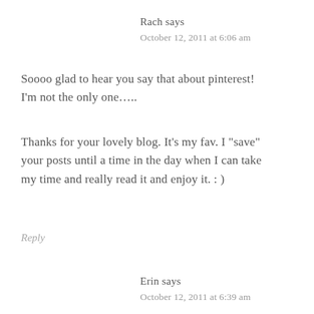Rach says
October 12, 2011 at 6:06 am
Soooo glad to hear you say that about pinterest! I'm not the only one….
Thanks for your lovely blog. It's my fav. I "save" your posts until a time in the day when I can take my time and really read it and enjoy it. : )
Reply
Erin says
October 12, 2011 at 6:39 am